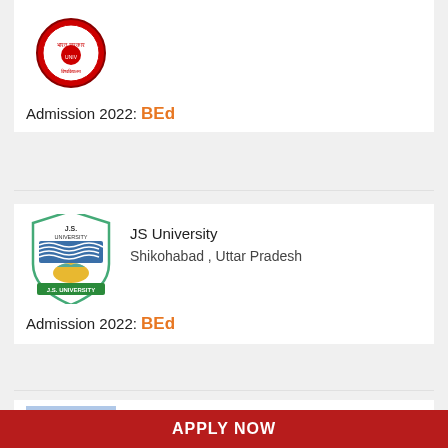[Figure (logo): University logo (circular red emblem)]
Admission 2022: BEd
[Figure (logo): JS University shield logo - Shikohabad Uttar Pradesh]
JS University
Shikohabad , Uttar Pradesh
Admission 2022: BEd
[Figure (logo): Avinashilingam Deemed University for Women logo - circular blue border with building]
Avinashilingam Deemed University for Women
Coimbatore , Tamil Nadu
Admission 2022: BEd
APPLY NOW